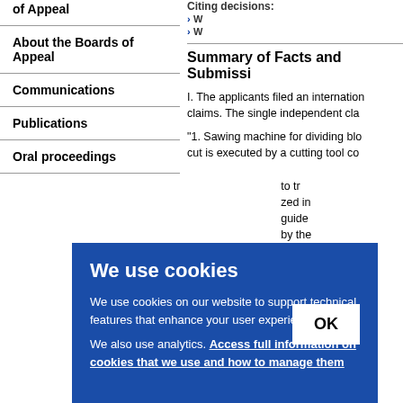of Appeal
About the Boards of Appeal
Communications
Publications
Oral proceedings
Citing decisions:
Summary of Facts and Submissi
I. The applicants filed an international application with claims. The single independent cla...
"1. Sawing machine for dividing blo... cut is executed by a cutting tool co...
We use cookies — We use cookies on our website to support technical features that enhance your user experience. We also use analytics. Access full information on cookies that we use and how to manage them